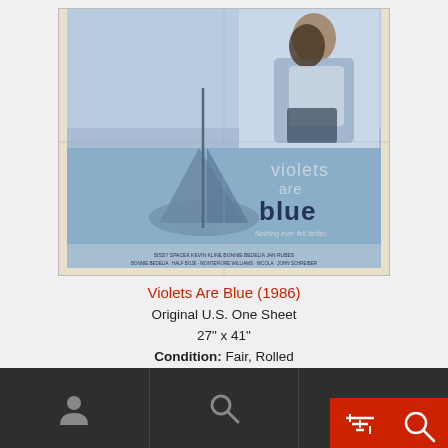[Figure (photo): Movie poster for 'Violets Are Blue' (1986) showing two people embracing on a sailboat with blue-toned imagery and text 'violets are blue' and tagline 'Nothing ever felt better.']
Violets Are Blue (1986)
Original U.S. One Sheet
27" x 41"
Condition: Fair, Rolled